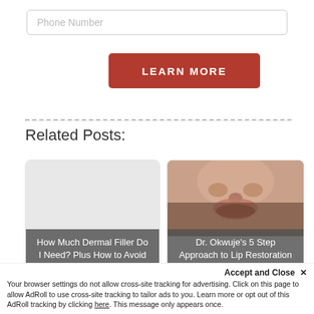Phone Number
LEARN MORE
Related Posts:
[Figure (photo): Card with text overlay: 'How Much Dermal Filler Do I Need? Plus How to Avoid Top...']
[Figure (photo): Card with photo of lips/nose and text overlay: 'Dr. Okwuje's 5 Step Approach to Lip Restoration and...']
Accept and Close ✕
Your browser settings do not allow cross-site tracking for advertising. Click on this page to allow AdRoll to use cross-site tracking to tailor ads to you. Learn more or opt out of this AdRoll tracking by clicking here. This message only appears once.